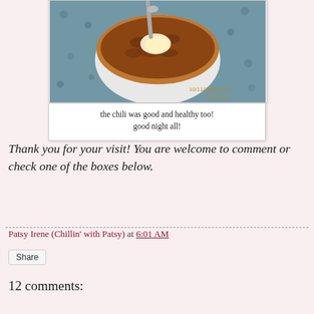[Figure (photo): A bowl of chili with melted butter or cheese on top, with a spoon, placed on a patterned tablecloth. Timestamp visible in lower right corner of photo.]
the chili was good and healthy too!
good night all!
Thank you for your visit! You are welcome to comment or check one of the boxes below.
Patsy Irene (Chillin' with Patsy) at 6:01 AM
Share
12 comments: